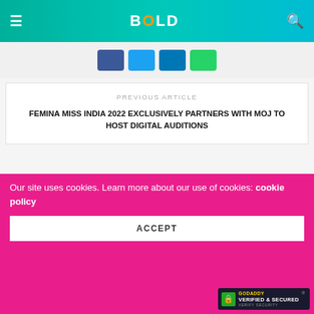BOLD
[Figure (screenshot): Social share buttons: Facebook (blue), Twitter (cyan), LinkedIn (blue), WhatsApp (green)]
PREVIOUS ARTICLE
FEMINA MISS INDIA 2022 EXCLUSIVELY PARTNERS WITH MOJ TO HOST DIGITAL AUDITIONS
NEXT ARTICLE
LIFESTYLE CELEBRATES THE SEASON OF JOY AND BLOOM WITH LAUNCH OF NEW SPRING/SUMMER COLLECTION!
SUBSCRIBE NOW!
Our site uses cookies. Learn more about our use of cookies: cookie policy
ACCEPT